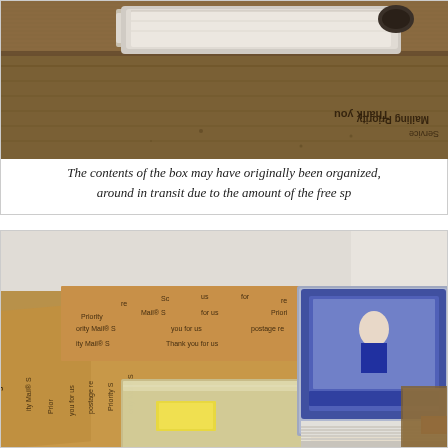[Figure (photo): Close-up photo of a cardboard Priority Mail shipping box, viewed from above, with rolled/crumpled white paper visible inside the box. The box shows 'Thank you Priority' printed text on brown cardboard.]
The contents of the box may have originally been organized, around in transit due to the amount of the free sp
[Figure (photo): Photo of the interior of a Priority Mail cardboard box containing trading cards: stacks of cards in plastic sleeves/toploaders, and what appears to be graded/slabbed cards wrapped in plastic, sitting in the box. The box sides show 'Priority Mail' printed text.]